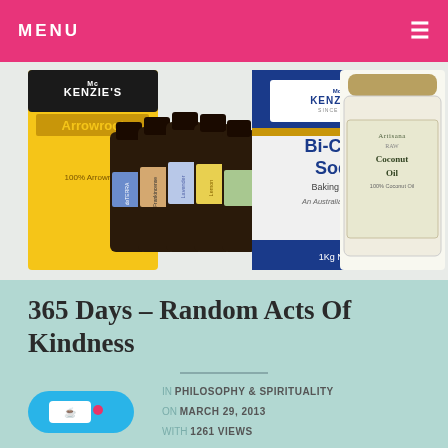MENU
[Figure (photo): Product photo showing doTERRA essential oil bottles (Lavender, Frankincense, Lemon and others), McKenzie's Arrowroot packet, McKenzie's Bi-Carb Soda Baking Soda 1Kg NET box, and Artisana Raw Coconut Oil jar]
365 Days – Random Acts Of Kindness
IN PHILOSOPHY & SPIRITUALITY
ON MARCH 29, 2013
WITH 1261 VIEWS